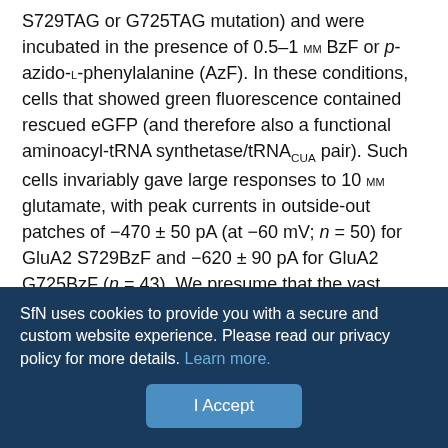S729TAG or G725TAG mutation) and were incubated in the presence of 0.5–1 mm BzF or p-azido-L-phenylalanine (AzF). In these conditions, cells that showed green fluorescence contained rescued eGFP (and therefore also a functional aminoacyl-tRNA synthetase/tRNACUA pair). Such cells invariably gave large responses to 10 mm glutamate, with peak currents in outside-out patches of −470 ± 50 pA (at −60 mV; n = 50) for GluA2 S729BzF and −620 ± 90 pA for GluA2 G725BzF (n = 43). We presume that the vast majority of this current arises from rescued receptors harboring the non-natural photoactive amino acid, because subunits truncated within the S2 segment are unlikely to form functional receptors. These observations (and our biochemical results, see below) suggest that the synthetases we have used incorporate BzF and AzF
SfN uses cookies to provide you with a secure and custom website experience. Please read our privacy policy for more details. Learn more.